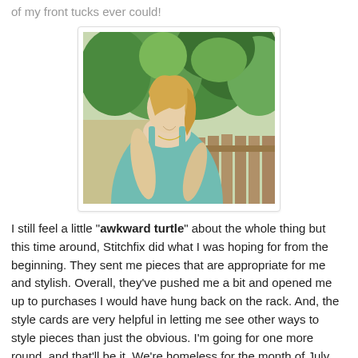of my front tucks ever could!
[Figure (photo): A blonde woman in a teal tank top looking down, photographed outdoors with green trees and a wooden fence in the background.]
I still feel a little "awkward turtle" about the whole thing but this time around, Stitchfix did what I was hoping for from the beginning. They sent me pieces that are appropriate for me and stylish. Overall, they've pushed me a bit and opened me up to purchases I would have hung back on the rack. And, the style cards are very helpful in letting me see other ways to style pieces than just the obvious. I'm going for one more round, and that'll be it. We're homeless for the month of July and I haven't a clue what Colorado will bring in August!